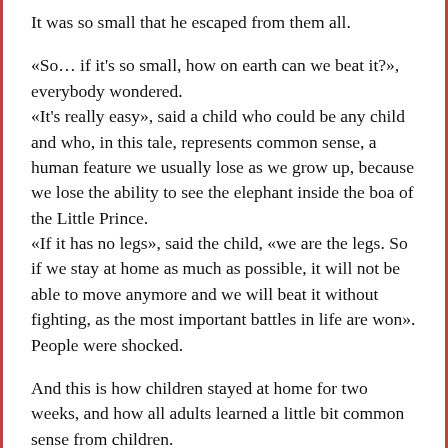It was so small that he escaped from them all.
«So… if it's so small, how on earth can we beat it?», everybody wondered.
«It's really easy», said a child who could be any child and who, in this tale, represents common sense, a human feature we usually lose as we grow up, because we lose the ability to see the elephant inside the boa of the Little Prince.
«If it has no legs», said the child, «we are the legs. So if we stay at home as much as possible, it will not be able to move anymore and we will beat it without fighting, as the most important battles in life are won».
People were shocked.
And this is how children stayed at home for two weeks, and how all adults learned a little bit common sense from children.
And this is how everybody got the time to read The Little